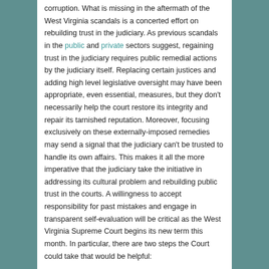corruption. What is missing in the aftermath of the West Virginia scandals is a concerted effort on rebuilding trust in the judiciary. As previous scandals in the public and private sectors suggest, regaining trust in the judiciary requires public remedial actions by the judiciary itself. Replacing certain justices and adding high level legislative oversight may have been appropriate, even essential, measures, but they don't necessarily help the court restore its integrity and repair its tarnished reputation. Moreover, focusing exclusively on these externally-imposed remedies may send a signal that the judiciary can't be trusted to handle its own affairs. This makes it all the more imperative that the judiciary take the initiative in addressing its cultural problem and rebuilding public trust in the courts. A willingness to accept responsibility for past mistakes and engage in transparent self-evaluation will be critical as the West Virginia Supreme Court begins its new term this month. In particular, there are two steps the Court could take that would be helpful:
Continue reading →